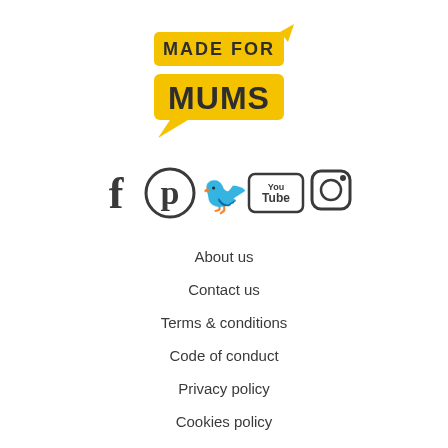[Figure (logo): Made For Mums logo: yellow speech bubble shape with bold black text 'MADE FOR MUMS']
[Figure (infographic): Row of social media icons: Facebook, Pinterest, Twitter, YouTube, Instagram]
About us
Contact us
Terms & conditions
Code of conduct
Privacy policy
Cookies policy
Complaints
Manage cookies